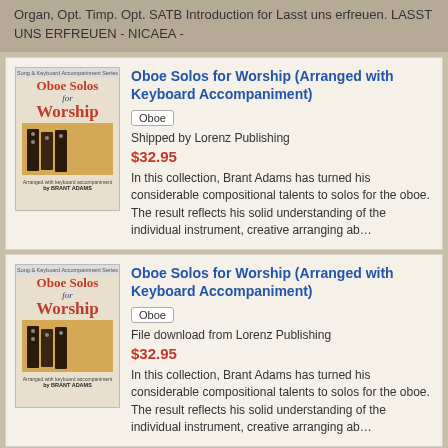Organ, Opt. Timp. Opt. SATB Introduction for Lasst uns erfreuen. LASST UNS ERFREUEN - NICAEA -
[Figure (illustration): Book cover: Oboe Solos for Worship, arranged with keyboard accompaniment by Brant Adams. Red text title, image of oboe on gold background.]
Oboe Solos for Worship (Arranged with Keyboard Accompaniment)
Oboe
Shipped by Lorenz Publishing
$32.95
In this collection, Brant Adams has turned his considerable compositional talents to solos for the oboe. The result reflects his solid understanding of the individual instrument, creative arranging ab…
[Figure (illustration): Book cover: Oboe Solos for Worship, arranged with keyboard accompaniment by Brant Adams. Red text title, image of oboe on gold background.]
Oboe Solos for Worship (Arranged with Keyboard Accompaniment)
Oboe
File download from Lorenz Publishing
$32.95
In this collection, Brant Adams has turned his considerable compositional talents to solos for the oboe. The result reflects his solid understanding of the individual instrument, creative arranging ab…
Sing It Simply (25 Congregational Hymn